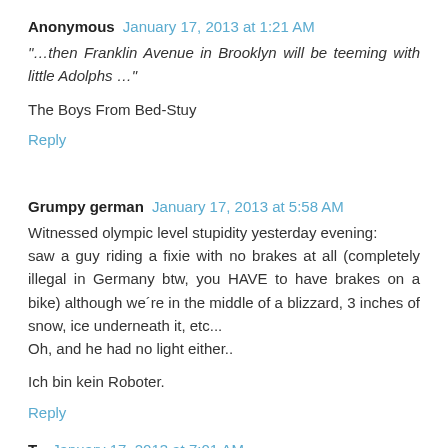Anonymous  January 17, 2013 at 1:21 AM
"…then Franklin Avenue in Brooklyn will be teeming with little Adolphs …"
The Boys From Bed-Stuy
Reply
Grumpy german  January 17, 2013 at 5:58 AM
Witnessed olympic level stupidity yesterday evening: saw a guy riding a fixie with no brakes at all (completely illegal in Germany btw, you HAVE to have brakes on a bike) although we´re in the middle of a blizzard, 3 inches of snow, ice underneath it, etc... Oh, and he had no light either..
Ich bin kein Roboter.
Reply
T... January 17, 2013 at 7:01 AM